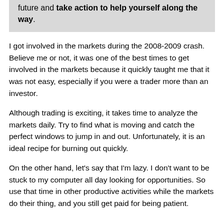future and take action to help yourself along the way.
I got involved in the markets during the 2008-2009 crash. Believe me or not, it was one of the best times to get involved in the markets because it quickly taught me that it was not easy, especially if you were a trader more than an investor.
Although trading is exciting, it takes time to analyze the markets daily. Try to find what is moving and catch the perfect windows to jump in and out. Unfortunately, it is an ideal recipe for burning out quickly.
On the other hand, let's say that I'm lazy. I don't want to be stuck to my computer all day looking for opportunities. So use that time in other productive activities while the markets do their thing, and you still get paid for being patient.